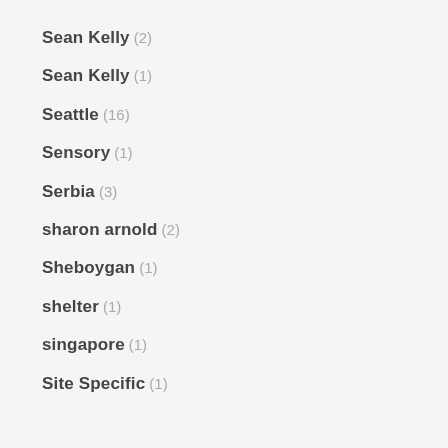Sean Kelly (2)
Sean Kelly (1)
Seattle (16)
Sensory (1)
Serbia (3)
sharon arnold (2)
Sheboygan (1)
shelter (1)
singapore (1)
Site Specific (1)